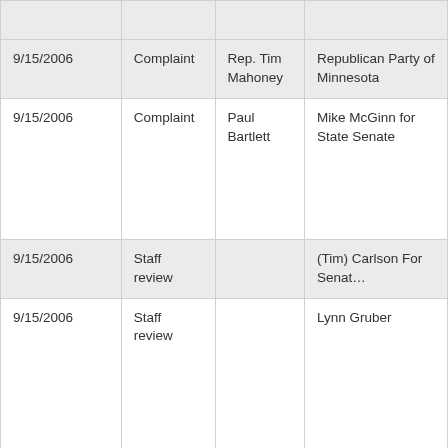| Date | Type | Complainant | Respondent |
| --- | --- | --- | --- |
| 9/15/2006 | Complaint | Rep. Tim Mahoney | Republican Party of Minnesota |
| 9/15/2006 | Complaint | Paul Bartlett | Mike McGinn for State Senate |
| 9/15/2006 | Staff review |  | (Tim) Carlson For Senate |
| 9/15/2006 | Staff review |  | Lynn Gruber |
| 9/15/2006 | Staff review |  | People for (Gregory) Da Committee |